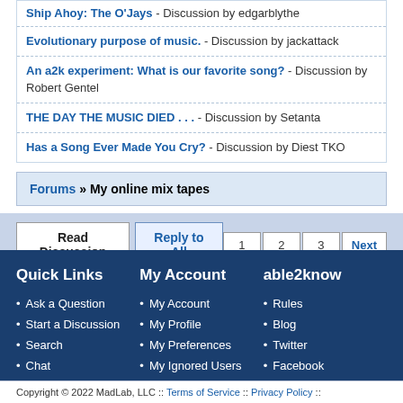Ship Ahoy: The O'Jays - Discussion by edgarblythe
Evolutionary purpose of music. - Discussion by jackattack
An a2k experiment: What is our favorite song? - Discussion by Robert Gentel
THE DAY THE MUSIC DIED . . . - Discussion by Setanta
Has a Song Ever Made You Cry? - Discussion by Diest TKO
Forums » My online mix tapes
Read Discussion   Reply to All   1 2 3 Next
Quick Links
Ask a Question
Start a Discussion
Search
Chat
My Account
My Account
My Profile
My Preferences
My Ignored Users
My Email Updates
able2know
Rules
Blog
Twitter
Facebook
Contact Us
Copyright © 2022 MadLab, LLC :: Terms of Service :: Privacy Policy ::